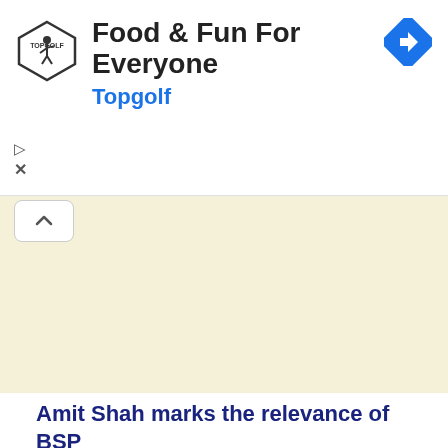[Figure (screenshot): Topgolf advertisement banner with logo (shield with golfer), text 'Food & Fun For Everyone', brand name 'Topgolf' in blue, blue navigation diamond icon on right, and ad controls (play and close buttons) on left side]
[Figure (map): Light beige/cream colored map area with a collapse/chevron-up button in the upper left corner]
Amit Shah marks the relevance of BSP